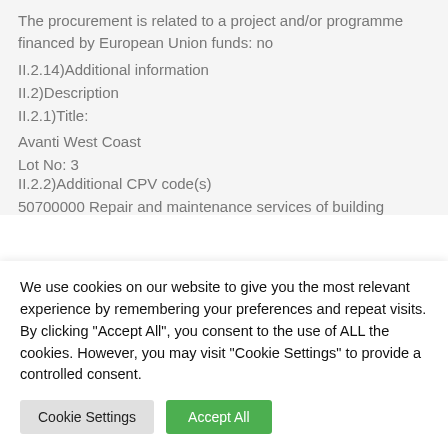The procurement is related to a project and/or programme financed by European Union funds: no
II.2.14)Additional information
II.2)Description
II.2.1)Title:
Avanti West Coast
Lot No: 3
II.2.2)Additional CPV code(s)
50700000 Repair and maintenance services of building
We use cookies on our website to give you the most relevant experience by remembering your preferences and repeat visits. By clicking "Accept All", you consent to the use of ALL the cookies. However, you may visit "Cookie Settings" to provide a controlled consent.